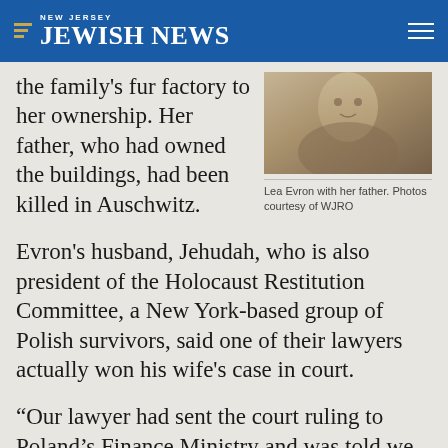New Jersey Jewish News
the family's fur factory to her ownership. Her father, who had owned the buildings, had been killed in Auschwitz.
[Figure (photo): Black and white photograph of Lea Evron with her father]
Lea Evron with her father. Photos courtesy of WJRO
Evron's husband, Jehudah, who is also president of the Holocaust Restitution Committee, a New York-based group of Polish survivors, said one of their lawyers actually won his wife's case in court.
“Our lawyer had sent the court ruling to Poland’s Finance Ministry and was told we can’t get back the property because it has been sold and the new owner bought it in good faith,” he said. “Our lawyer